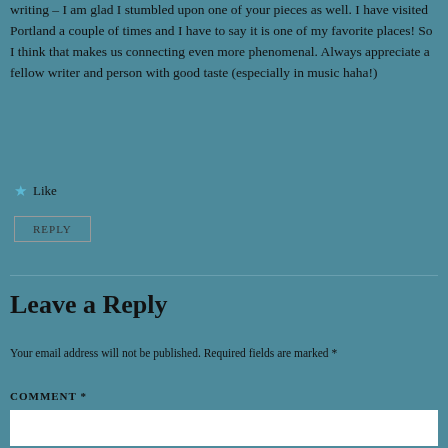writing – I am glad I stumbled upon one of your pieces as well. I have visited Portland a couple of times and I have to say it is one of my favorite places! So I think that makes us connecting even more phenomenal. Always appreciate a fellow writer and person with good taste (especially in music haha!)
Like
REPLY
Leave a Reply
Your email address will not be published. Required fields are marked *
COMMENT *